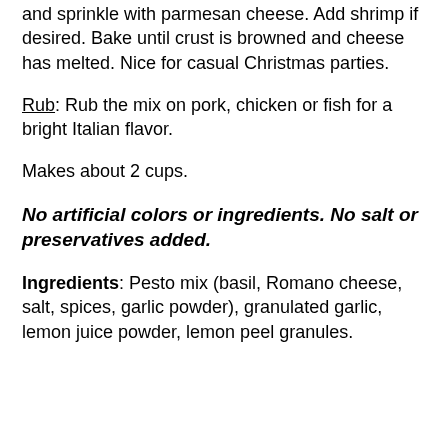and sprinkle with parmesan cheese.  Add shrimp if desired.  Bake until crust is browned and cheese has melted.  Nice for casual Christmas parties.
Rub:  Rub the mix on pork, chicken or fish for a bright Italian flavor.
Makes about 2 cups.
No artificial colors or ingredients.  No salt or preservatives added.
Ingredients:  Pesto mix (basil, Romano cheese, salt, spices, garlic powder), granulated garlic, lemon juice powder, lemon peel granules.